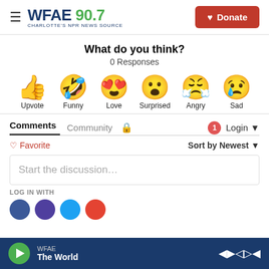[Figure (logo): WFAE 90.7 Charlotte's NPR News Source logo with hamburger menu and Donate button]
What do you think?
0 Responses
[Figure (infographic): Six reaction emoji icons: thumbs up (Upvote), laughing face (Funny), heart eyes (Love), surprised face (Surprised), angry/crying face (Angry), sad face with tear (Sad)]
Comments
Community | Login
♡ Favorite | Sort by Newest
Start the discussion…
LOG IN WITH
[Figure (infographic): Social login icons: Facebook (blue), Google (purple), Twitter (light blue), Disqus (red)]
WFAE The World